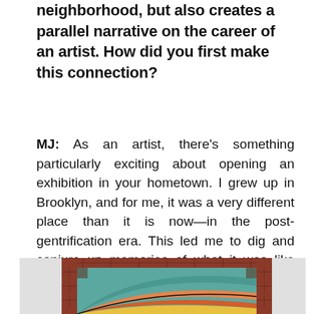neighborhood, but also creates a parallel narrative on the career of an artist. How did you first make this connection?
MJ: As an artist, there's something particularly exciting about opening an exhibition in your hometown. I grew up in Brooklyn, and for me, it was a very different place than it is now—in the post-gentrification era. This led me to dig and conjure up memories of what it was like before and try to convey this feeling.
[Figure (photo): A colorful artwork showing curved rainbow-like bands of teal, orange, red and yellow colors within a brick-framed border, partially visible at the bottom of the page.]